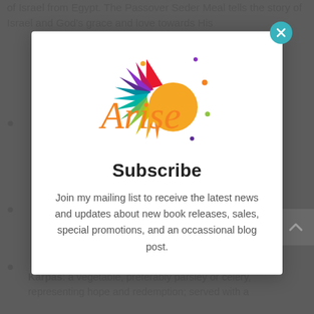of Israel from Egypt. The Passover Seder Meal tells the story of Israel and God's grace and love towards His
• (bullet content partially visible)
• (bullet content partially visible)
• (bullet content partially visible)
[Figure (logo): Arise logo — colorful sunburst rays in red, pink, purple, teal, blue, green, yellow, orange with orange script text 'Arise']
Subscribe
Join my mailing list to receive the latest news and updates about new book releases, sales, special promotions, and an occassional blog post.
Karpas: a vegetable, preferably parsley or celery, representing hope and redemption; served with a